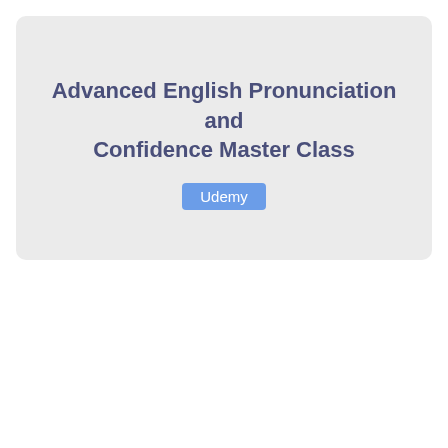Advanced English Pronunciation and Confidence Master Class
Udemy